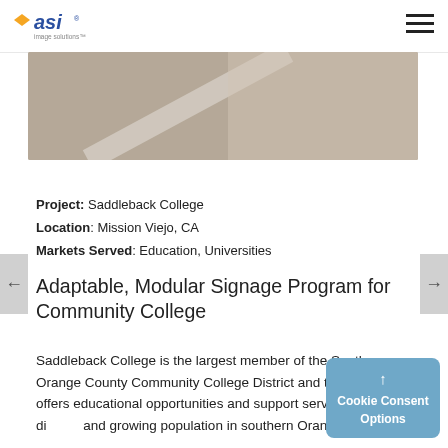[Figure (logo): ASI company logo with orange diamond and blue 'asi' text, tagline below]
[Figure (photo): Slidshow image carousel showing a beige/tan surface, with carousel dot indicators below]
Project: Saddleback College
Location: Mission Viejo, CA
Markets Served: Education, Universities
Adaptable, Modular Signage Program for Community College
Saddleback College is the largest member of the South Orange County Community College District and the college offers educational opportunities and support services to a diverse and growing population in southern Orange County.